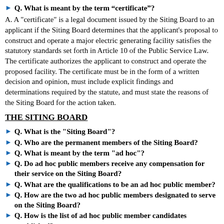Q. What is meant by the term "certificate"?
A. A "certificate" is a legal document issued by the Siting Board to an applicant if the Siting Board determines that the applicant's proposal to construct and operate a major electric generating facility satisfies the statutory standards set forth in Article 10 of the Public Service Law. The certificate authorizes the applicant to construct and operate the proposed facility. The certificate must be in the form of a written decision and opinion, must include explicit findings and determinations required by the statute, and must state the reasons of the Siting Board for the action taken.
THE SITING BOARD
Q. What is the "Siting Board"?
Q. Who are the permanent members of the Siting Board?
Q. What is meant by the term "ad hoc"?
Q. Do ad hoc public members receive any compensation for their service on the Siting Board?
Q. What are the qualifications to be an ad hoc public member?
Q. How are the two ad hoc public members designated to serve on the Siting Board?
Q. How is the list of ad hoc public member candidates established?